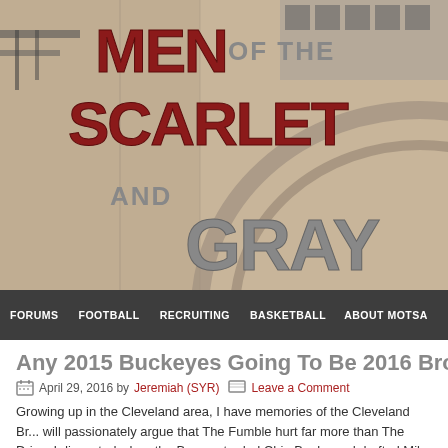[Figure (photo): Header banner image for 'Men of the Scarlet and Gray' sports blog, showing a stadium concrete structure in sepia tones with large red and gray styled text logo overlay reading MEN OF THE SCARLET AND GRAY]
FORUMS  FOOTBALL  RECRUITING  BASKETBALL  ABOUT MOTSA
Any 2015 Buckeyes Going To Be 2016 Browns?
April 29, 2016 by Jeremiah (SYR)  Leave a Comment
Growing up in the Cleveland area, I have memories of the Cleveland Br... will passionately argue that The Fumble hurt far more than The Drive. I... disgusted when the Browns traded Chip Banks and drafted Mike Junkin... own a Brian Sipe jersey, having been in the stands for Sipe's last game...